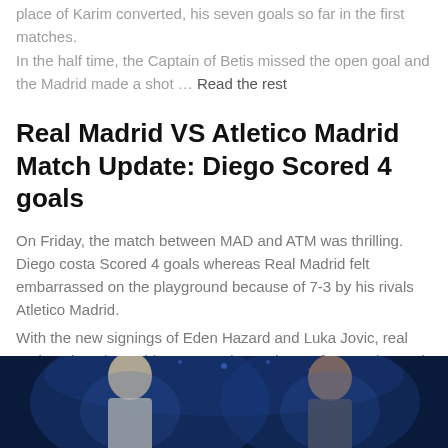place of Karim converted, his seven goals so far in the first matches. In the half time, the Captain of Betis missed the open goal and the Madrid made a shot … Read the rest
Real Madrid VS Atletico Madrid Match Update: Diego Scored 4 goals
On Friday, the match between MAD and ATM was thrilling. Diego costa Scored 4 goals whereas Real Madrid felt embarrassed on the playground because of 7-3 by his rivals Atletico Madrid.
With the new signings of Eden Hazard and Luka Jovic, real retrieved a robust side once again starting up front and Gareth on the bench and match was ended with first half 5-0.
[Figure (photo): Photo of two football players with Champions League branding background]